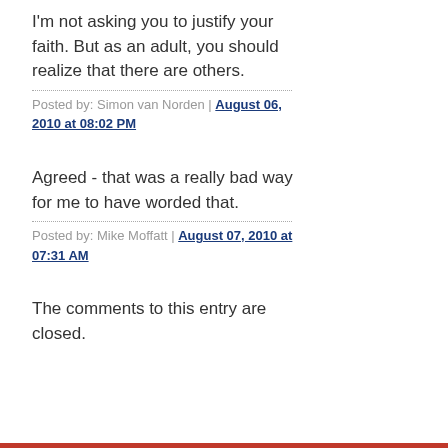I'm not asking you to justify your faith. But as an adult, you should realize that there are others.
Posted by: Simon van Norden | August 06, 2010 at 08:02 PM
Agreed - that was a really bad way for me to have worded that.
Posted by: Mike Moffatt | August 07, 2010 at 07:31 AM
The comments to this entry are closed.